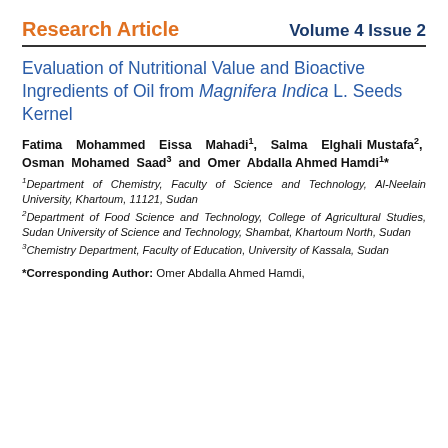Research Article    Volume 4 Issue 2
Evaluation of Nutritional Value and Bioactive Ingredients of Oil from Magnifera Indica L. Seeds Kernel
Fatima Mohammed Eissa Mahadi1, Salma Elghali Mustafa2, Osman Mohamed Saad3 and Omer Abdalla Ahmed Hamdi1*
1Department of Chemistry, Faculty of Science and Technology, Al-Neelain University, Khartoum, 11121, Sudan
2Department of Food Science and Technology, College of Agricultural Studies, Sudan University of Science and Technology, Shambat, Khartoum North, Sudan
3Chemistry Department, Faculty of Education, University of Kassala, Sudan
*Corresponding Author: Omer Abdalla Ahmed Hamdi,